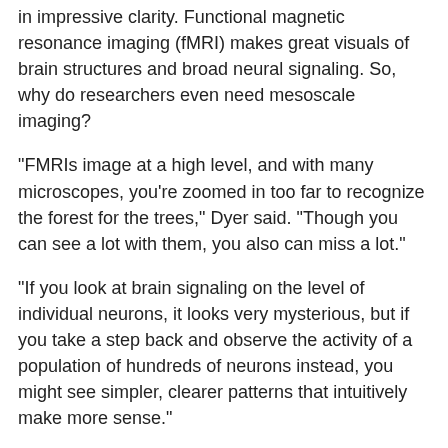in impressive clarity. Functional magnetic resonance imaging (fMRI) makes great visuals of brain structures and broad neural signaling. So, why do researchers even need mesoscale imaging?
"FMRIs image at a high level, and with many microscopes, you're zoomed in too far to recognize the forest for the trees," Dyer said. "Though you can see a lot with them, you also can miss a lot."
"If you look at brain signaling on the level of individual neurons, it looks very mysterious, but if you take a step back and observe the activity of a population of hundreds of neurons instead, you might see simpler, clearer patterns that intuitively make more sense."
In an earlier study, Dyer discovered that hand motion directions corresponded with reliable neural signaling patterns in the brain's motor neocortex. The signals did not occur across single neurons or a few dozen but